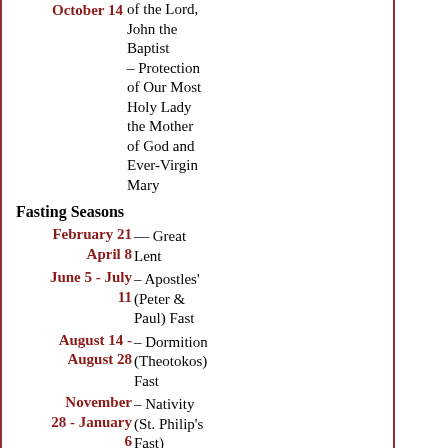of the Lord, John the Baptist – Protection of Our Most Holy Lady the Mother of God and Ever-Virgin Mary
October 14
Fasting Seasons
February 21 — Great Lent
April 8
June 5 - July 11 – Apostles' (Peter & Paul) Fast
August 14 - August 28 – Dormition (Theotokos) Fast
November 28 - January 6 – Nativity (St. Philip's Fast)
Fast Days
The Wednesdays and Fridays of the Year, except for Fast-Free